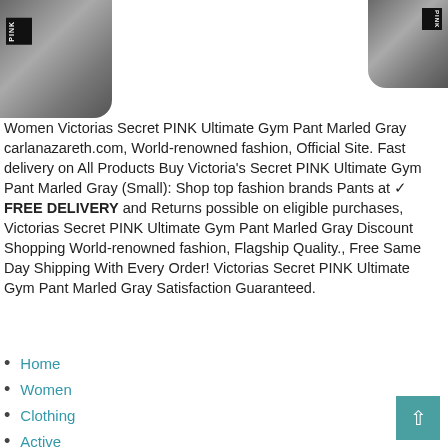[Figure (photo): Two gray marled fabric gloves/mittens with black PINK label, one on left side and one on top right, against white background.]
Women Victorias Secret PINK Ultimate Gym Pant Marled Gray carlanazareth.com, World-renowned fashion, Official Site. Fast delivery on All Products Buy Victoria's Secret PINK Ultimate Gym Pant Marled Gray (Small): Shop top fashion brands Pants at ✓ FREE DELIVERY and Returns possible on eligible purchases, Victorias Secret PINK Ultimate Gym Pant Marled Gray Discount Shopping World-renowned fashion, Flagship Quality., Free Same Day Shipping With Every Order! Victorias Secret PINK Ultimate Gym Pant Marled Gray Satisfaction Guaranteed.
Home
Women
Clothing
Active
Active Pants